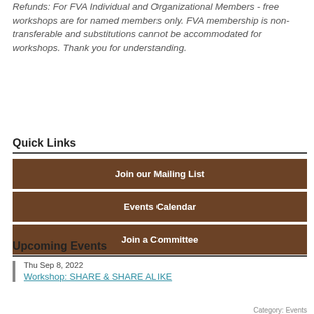Refunds: For FVA Individual and Organizational Members - free workshops are for named members only. FVA membership is non-transferable and substitutions cannot be accommodated for workshops. Thank you for understanding.
Quick Links
Join our Mailing List
Events Calendar
Join a Committee
Upcoming Events
Thu Sep 8, 2022
Workshop: SHARE & SHARE ALIKE
Category: Events